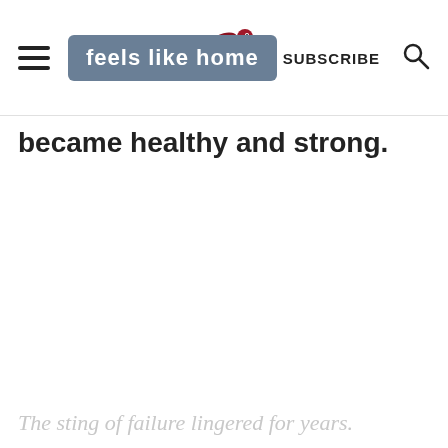feels like home — SUBSCRIBE
became healthy and strong.
The sting of failure lingered for years.